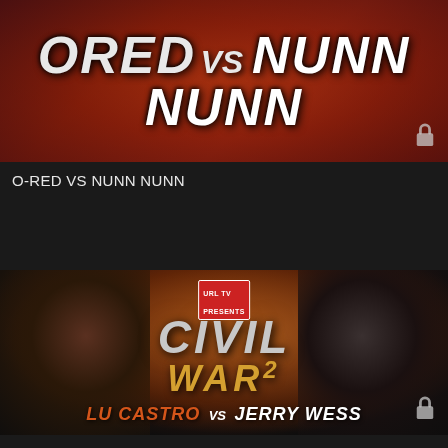[Figure (photo): Promotional thumbnail for O-RED VS NUNN NUNN battle rap video, dark red background with stylized text. Lock icon in bottom right corner.]
O-RED VS NUNN NUNN
[Figure (photo): Promotional thumbnail for LU CASTRO VS JERRY WESS battle rap video from CIVIL WAR 2 event. Two rappers face each other on dark background with fire/globe imagery. Lock icon in bottom right corner.]
LU CASTRO VS JERRY WESS